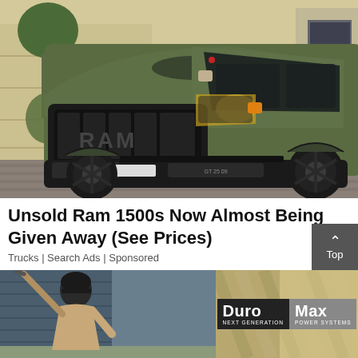[Figure (photo): A matte olive green RAM 1500 pickup truck parked in a driveway with a house and potted tree in background]
Unsold Ram 1500s Now Almost Being Given Away (See Prices)
Trucks | Search Ads | Sponsored
[Figure (photo): A person wearing a beanie hat working with a pressure washer or similar tool near a house]
[Figure (logo): DuroMax Next Generation Power Systems logo — black box with 'Duro' in white and grey box with 'Max' in white, with small text 'NEXT GENERATION' and 'POWER SYSTEMS']